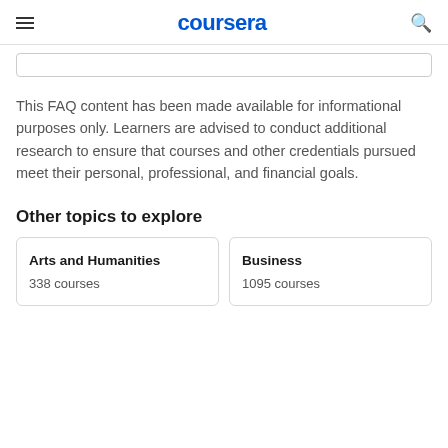coursera
This FAQ content has been made available for informational purposes only. Learners are advised to conduct additional research to ensure that courses and other credentials pursued meet their personal, professional, and financial goals.
Other topics to explore
Arts and Humanities
338 courses
Business
1095 courses